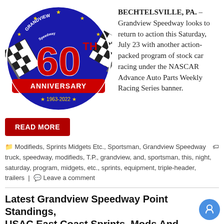[Figure (logo): Grandview Speedway 60th Anniversary logo — circular blue badge with checkered flags, red '60' in center, 'TH' superscript, 'ANNIVERSARY' banner, '★ 1963-2022 ★' text]
BECHTELSVILLE, PA. – Grandview Speedway looks to return to action this Saturday, July 23 with another action-packed program of stock car racing under the NASCAR Advance Auto Parts Weekly Racing Series banner.
READ MORE
Modifieds, Sprints Midgets Etc., Sportsman, Grandview Speedway truck, speedway, modifieds, T.P., grandview, and, sportsman, this, night, saturday, program, midgets, etc., sprints, equipment, triple-header, trailers | Leave a comment
Latest Grandview Speedway Point Standings, USAC East Coast Sprints, Mods And Sportsman